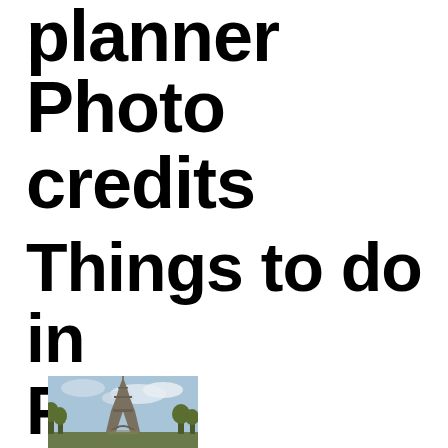planner
Photo credits
Things to do in Paris
[Figure (photo): Photograph of the Eiffel Tower in Paris with cloudy sky and trees in the foreground]